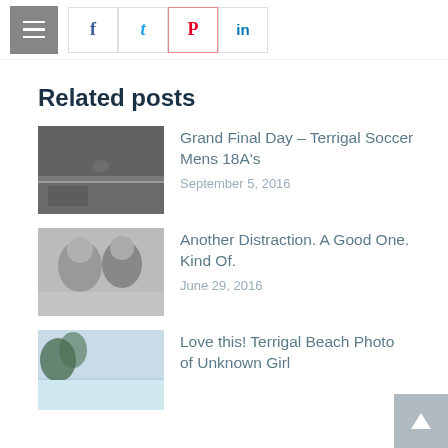Menu | f | tw | pinterest | in
Related posts
[Figure (photo): Black and white photo of a soccer field]
Grand Final Day – Terrigal Soccer Mens 18A's
September 5, 2016
[Figure (photo): Black and white photo of a couple (woman and man)]
Another Distraction. A Good One. Kind Of.
June 29, 2016
[Figure (photo): Color photo of Terrigal Beach with sky and trees]
Love this! Terrigal Beach Photo of Unknown Girl